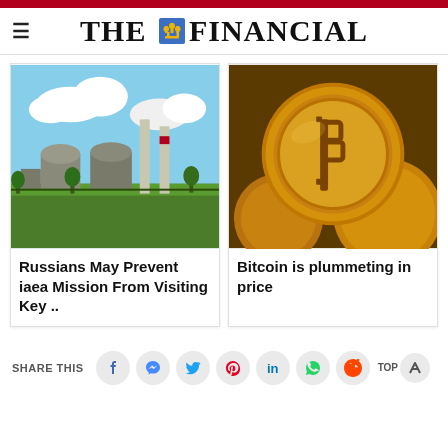THE FINANCIAL
[Figure (photo): Nuclear power plant with cooling towers, green grass in foreground, blue sky with clouds]
Russians May Prevent iaea Mission From Visiting Key ..
[Figure (photo): Close-up of gold Bitcoin coins]
Bitcoin is plummeting in price
SHARE THIS